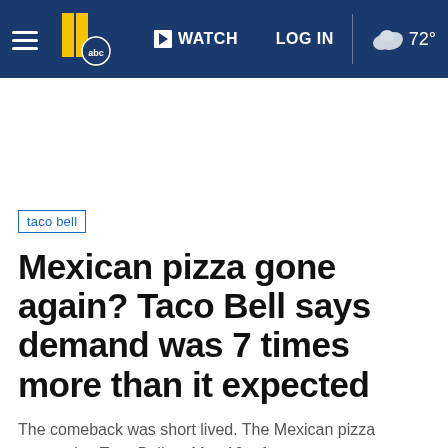WATCH  LOG IN  72°
taco bell
Mexican pizza gone again? Taco Bell says demand was 7 times more than it expected
The comeback was short lived. The Mexican pizza returned to Taco Bell on May 19, after a two-year